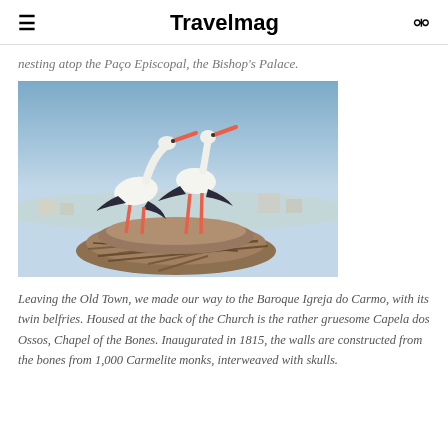Travelmag
nesting atop the Paço Episcopal, the Bishop's Palace.
[Figure (photo): Two white storks standing in a large nest atop a structure, with a blue sky and town buildings visible in the background.]
Leaving the Old Town, we made our way to the Baroque Igreja do Carmo, with its twin belfries. Housed at the back of the Church is the rather gruesome Capela dos Ossos, Chapel of the Bones. Inaugurated in 1815, the walls are constructed from the bones from 1,000 Carmelite monks, interweaved with skulls.